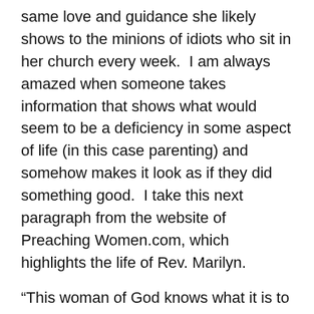same love and guidance she likely shows to the minions of idiots who sit in her church every week.  I am always amazed when someone takes information that shows what would seem to be a deficiency in some aspect of life (in this case parenting) and somehow makes it look as if they did something good.  I take this next paragraph from the website of Preaching Women.com, which highlights the life of Rev. Marilyn.
“This woman of God knows what it is to be  praying mother to see the promises of God fulfilled in each and every one of her promised seed.  Pastor Marilyn found herself crying out to God for the lives of her own children.  Today, Pastor Marilyn and Pastor Charles is blessed to have seven children, some of whom have tremendous testimonies of deliverance from drugs and alcohol.  The same anointing of God has fallen upon their children and